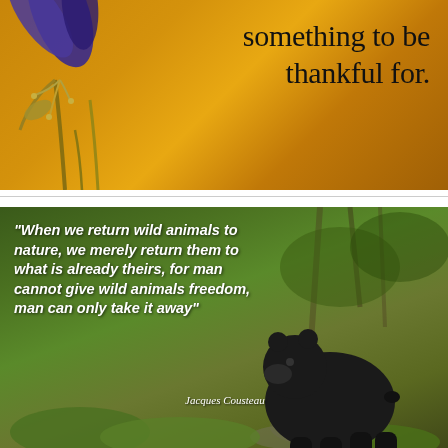[Figure (photo): Top image: golden/amber colored background with blue and yellow flower petals on the left side, with bold text reading 'something to be thankful for.' on the right]
something to be thankful for.
[Figure (photo): Bottom image: black bear standing on a rock in a green forest setting, with an overlaid quote by Jacques Cousteau about wild animals and freedom]
"When we return wild animals to nature, we merely return them to what is already theirs, for man cannot give wild animals freedom, man can only take it away" Jacques Cousteau